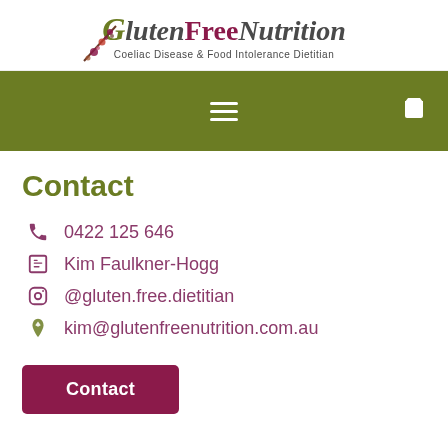[Figure (logo): GlutenFreeNutrition logo with floral decoration and tagline 'Coeliac Disease & Food Intolerance Dietitian']
[Figure (other): Olive green navigation bar with hamburger menu icon and shopping cart icon]
Contact
0422 125 646
Kim Faulkner-Hogg
@gluten.free.dietitian
kim@glutenfreenutrition.com.au
Contact